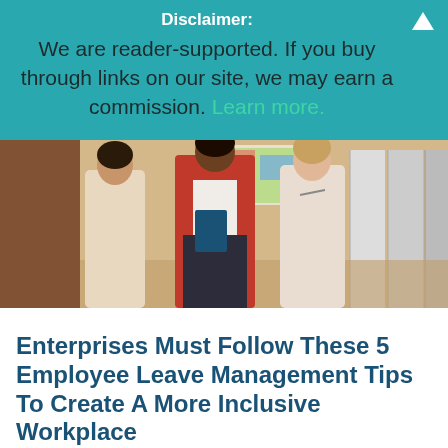Disclaimer:
We are reader-supported. If you buy through links on our site, we may earn a commission. Learn more.
[Figure (photo): Three professional women walking together in a corridor; the center woman wears a red blazer and carries a blue folder, the others wear light/beige outfits.]
Enterprises Must Follow These 5 Employee Leave Management Tips To Create A More Inclusive Workplace
In this article, we take a look at 5 employee leave management tips that enterprises must follow to create a